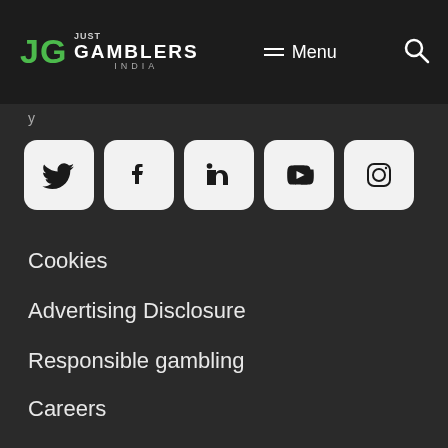JG JUST GAMBLERS INDIA | Menu | Search
[Figure (other): Social media icons row: Twitter, Facebook, LinkedIn, YouTube, Instagram]
Cookies
Advertising Disclosure
Responsible gambling
Careers
System Status